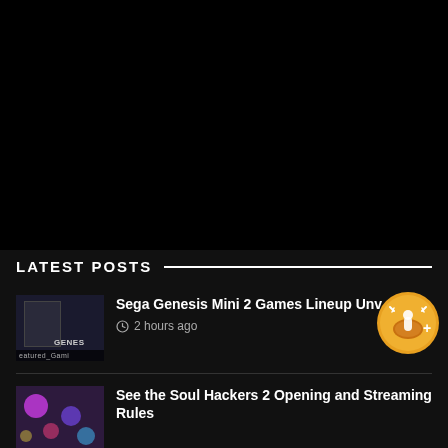[Figure (screenshot): Black video/media player area at top of gaming website]
LATEST POSTS
[Figure (photo): Thumbnail of Sega Genesis Mini 2 console with 'GENES' text and 'eatured Gami' label]
Sega Genesis Mini 2 Games Lineup Unv…
2 hours ago
[Figure (illustration): Gold circular badge with game controller icon]
[Figure (photo): Thumbnail with colorful purple/pink Soul Hackers 2 imagery]
See the Soul Hackers 2 Opening and Streaming Rules